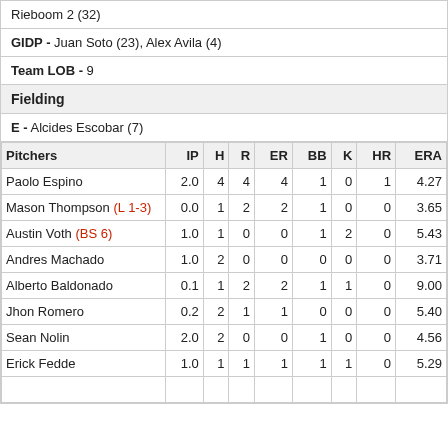Rieboom 2 (32)
GIDP - Juan Soto (23), Alex Avila (4)
Team LOB - 9
Fielding
E - Alcides Escobar (7)
| Pitchers | IP | H | R | ER | BB | K | HR | ERA |
| --- | --- | --- | --- | --- | --- | --- | --- | --- |
| Paolo Espino | 2.0 | 4 | 4 | 4 | 1 | 0 | 1 | 4.27 |
| Mason Thompson (L 1-3) | 0.0 | 1 | 2 | 2 | 1 | 0 | 0 | 3.65 |
| Austin Voth (BS 6) | 1.0 | 1 | 0 | 0 | 1 | 2 | 0 | 5.43 |
| Andres Machado | 1.0 | 2 | 0 | 0 | 0 | 0 | 0 | 3.71 |
| Alberto Baldonado | 0.1 | 1 | 2 | 2 | 1 | 1 | 0 | 9.00 |
| Jhon Romero | 0.2 | 2 | 1 | 1 | 0 | 0 | 0 | 5.40 |
| Sean Nolin | 2.0 | 2 | 0 | 0 | 1 | 0 | 0 | 4.56 |
| Erick Fedde | 1.0 | 1 | 1 | 1 | 1 | 1 | 0 | 5.29 |